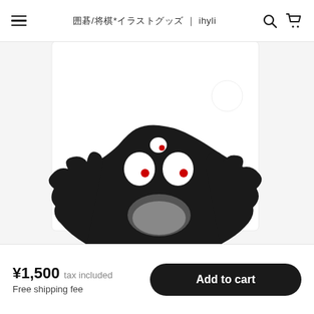囲碁/将棋*イラストグッズ | ihyli
[Figure (photo): Product image: a white folder/clear file showing a black cartoon cat peeking up from the bottom edge with wide white eyes and red pupils, spiky fur, on white background]
¥1,500  tax included
Free shipping fee
Add to cart